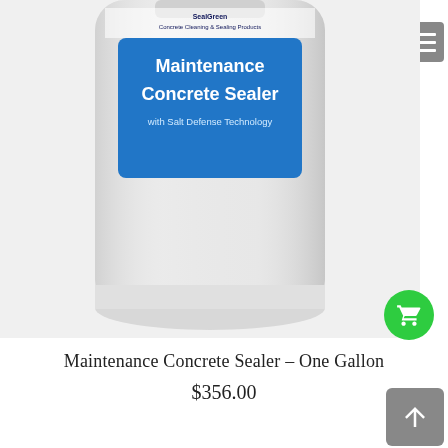[Figure (photo): A white plastic gallon jug of 'Maintenance Concrete Sealer with Salt Defense Technology' by SealGreen Concrete Cleaning & Sealing Products. The label has a blue rectangle with white text reading 'Maintenance Concrete Sealer with Salt Defense Technology' and descriptive text below.]
Maintenance Concrete Sealer – One Gallon
$356.00